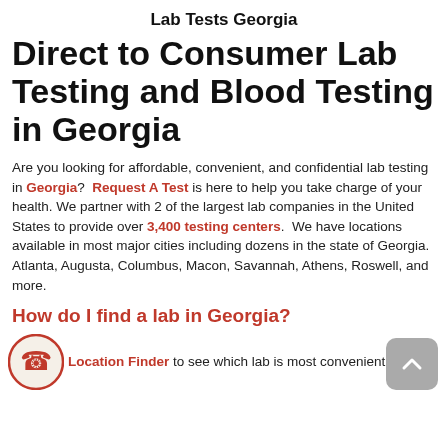Lab Tests Georgia
Direct to Consumer Lab Testing and Blood Testing in Georgia
Are you looking for affordable, convenient, and confidential lab testing in Georgia? Request A Test is here to help you take charge of your health. We partner with 2 of the largest lab companies in the United States to provide over 3,400 testing centers. We have locations available in most major cities including dozens in the state of Georgia. Atlanta, Augusta, Columbus, Macon, Savannah, Athens, Roswell, and more.
How do I find a lab in Georgia?
Location Finder to see which lab is most convenient d.
[Figure (illustration): Red phone handset icon inside a circle with a beige/cream background and red border.]